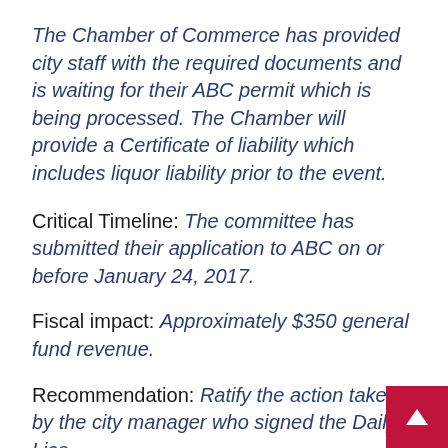The Chamber of Commerce has provided city staff with the required documents and is waiting for their ABC permit which is being processed. The Chamber will provide a Certificate of liability which includes liquor liability prior to the event.
Critical Timeline: The committee has submitted their application to ABC on or before January 24, 2017.
Fiscal impact: Approximately $350 general fund revenue.
Recommendation: Ratify the action taken by the city manager who signed the Daily Lice Application for the Department of Alcoholic